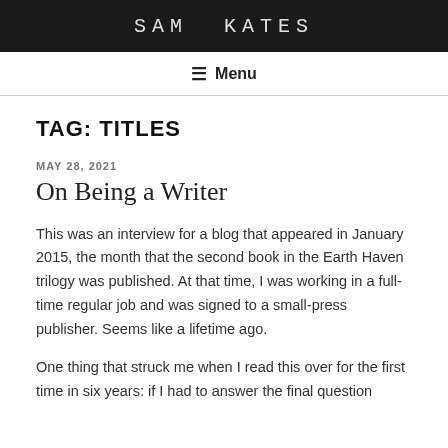SAM KATES
≡ Menu
TAG: TITLES
MAY 28, 2021
On Being a Writer
This was an interview for a blog that appeared in January 2015, the month that the second book in the Earth Haven trilogy was published. At that time, I was working in a full-time regular job and was signed to a small-press publisher. Seems like a lifetime ago.
One thing that struck me when I read this over for the first time in six years: if I had to answer the final question